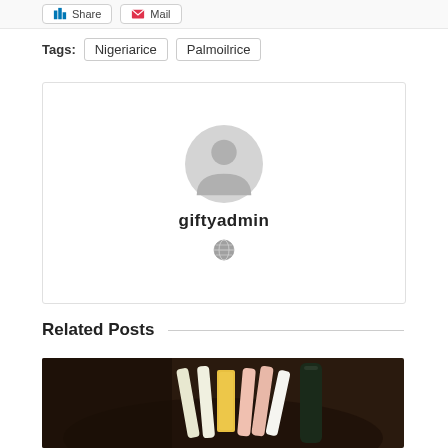Share   Mail
Tags:   Nigeriarice   Palmoilrice
[Figure (illustration): Author profile card with a default grey avatar silhouette, username 'giftyadmin' in bold, and a globe icon below.]
Related Posts
[Figure (photo): Photo of food ingredients including sliced vegetables and cheese in a dark bowl, partially visible.]